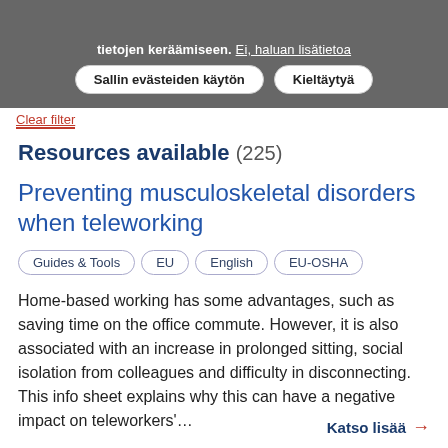tietojen keräämiseen. Ei, haluan lisätietoa
Sallin evästeiden käytön   Kieltäytyä
Clear filter
Resources available (225)
Preventing musculoskeletal disorders when teleworking
Guides & Tools
EU
English
EU-OSHA
Home-based working has some advantages, such as saving time on the office commute. However, it is also associated with an increase in prolonged sitting, social isolation from colleagues and difficulty in disconnecting. This info sheet explains why this can have a negative impact on teleworkers'…
Katso lisää →